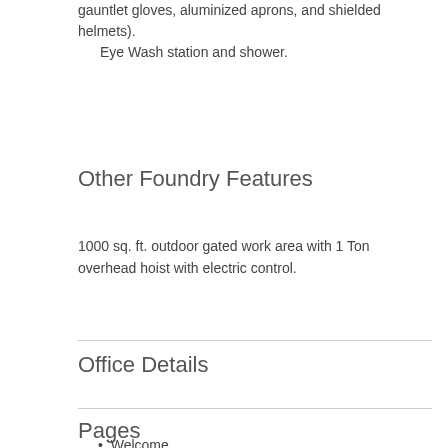gauntlet gloves, aluminized aprons, and shielded helmets).
Eye Wash station and shower.
Other Foundry Features
1000 sq. ft. outdoor gated work area with 1 Ton overhead hoist with electric control.
Office Details
Pages
Welcome